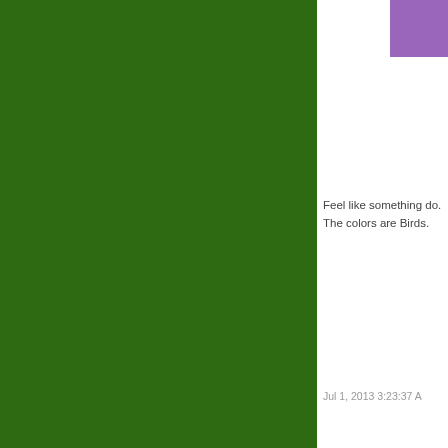[Figure (screenshot): A dark green background webpage screenshot showing a white card panel on the right with a purple image strip at top, review text, a green comments bar, and a promotional card section. Only the right portion of the full page is visible.]
Feel like something do. The colors are Birds.
Jul 1, 2013 3:23:37 A
Com
The comments to t
P
Turn your iPhone diamond bumper undoubtedly a high